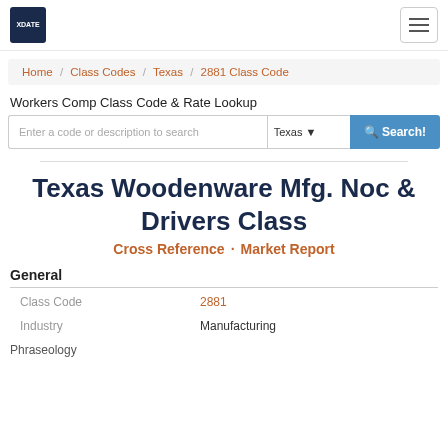XDATE logo and hamburger menu navigation
Home / Class Codes / Texas / 2881 Class Code
Workers Comp Class Code & Rate Lookup
Texas Woodenware Mfg. Noc & Drivers Class
Cross Reference · Market Report
General
| Field | Value |
| --- | --- |
| Class Code | 2881 |
| Industry | Manufacturing |
| Phraseology |  |